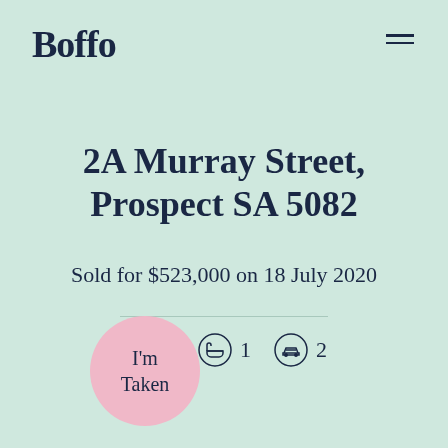Boffo
2A Murray Street, Prospect SA 5082
Sold for $523,000 on 18 July 2020
[Figure (infographic): Three property feature icons: bed (3), bath (1), car (2)]
I'm Taken